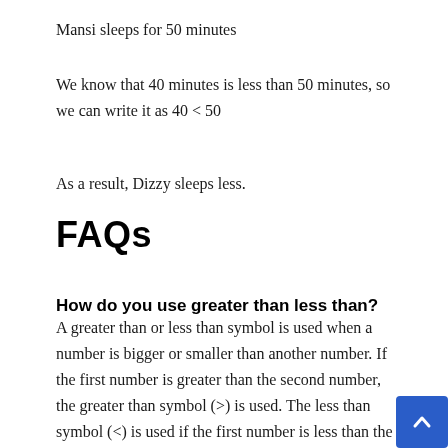Mansi sleeps for 50 minutes
We know that 40 minutes is less than 50 minutes, so we can write it as 40 < 50
As a result, Dizzy sleeps less.
FAQs
How do you use greater than less than?
A greater than or less than symbol is used when a number is bigger or smaller than another number. If the first number is greater than the second number, the greater than symbol (>) is used. The less than symbol (<) is used if the first number is less than the second